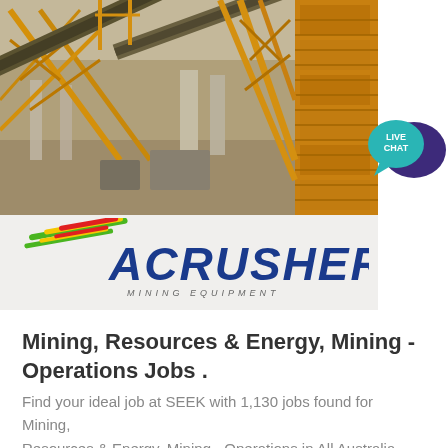[Figure (photo): Aerial/elevated view of a mining equipment facility with yellow conveyor belts, structural steel frameworks, and industrial machinery on a dirt construction site.]
[Figure (logo): ACRUSHER Mining Equipment logo with colorful diagonal stripes (red, yellow, green) above the bold italic blue text 'ACRUSHER' and subtitle 'MINING EQUIPMENT'.]
[Figure (illustration): Live Chat bubble icon — teal speech bubble with dark purple overlapping bubble, text 'LIVE CHAT' in white.]
Mining, Resources & Energy, Mining - Operations Jobs .
Find your ideal job at SEEK with 1,130 jobs found for Mining, Resources & Energy, Mining - Operations in All Australia. View all our vacancies now with new jobs added ...